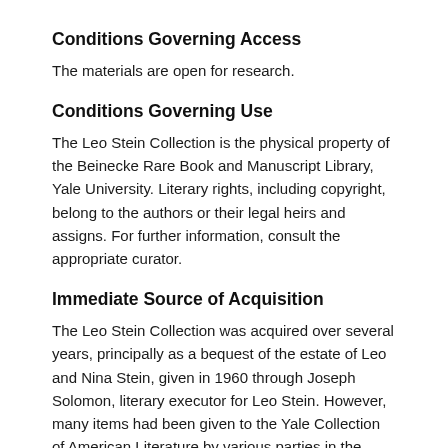Conditions Governing Access
The materials are open for research.
Conditions Governing Use
The Leo Stein Collection is the physical property of the Beinecke Rare Book and Manuscript Library, Yale University. Literary rights, including copyright, belong to the authors or their legal heirs and assigns. For further information, consult the appropriate curator.
Immediate Source of Acquisition
The Leo Stein Collection was acquired over several years, principally as a bequest of the estate of Leo and Nina Stein, given in 1960 through Joseph Solomon, literary executor for Leo Stein. However, many items had been given to the Yale Collection of American Literature by various parties in the years preceding. Subsequent gifts, particularly from Stein family members, completed this assemblage.